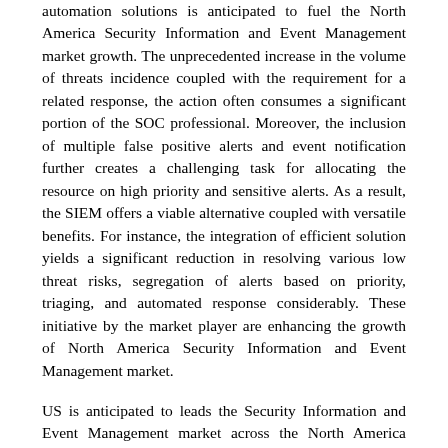automation solutions is anticipated to fuel the North America Security Information and Event Management market growth. The unprecedented increase in the volume of threats incidence coupled with the requirement for a related response, the action often consumes a significant portion of the SOC professional. Moreover, the inclusion of multiple false positive alerts and event notification further creates a challenging task for allocating the resource on high priority and sensitive alerts. As a result, the SIEM offers a viable alternative coupled with versatile benefits. For instance, the integration of efficient solution yields a significant reduction in resolving various low threat risks, segregation of alerts based on priority, triaging, and automated response considerably. These initiative by the market player are enhancing the growth of North America Security Information and Event Management market.
US is anticipated to leads the Security Information and Event Management market across the North America region through the forecast period. The growth in SIEM in the U.S. is mainly driven by factors which includes its state of being one of the best internet connected countries in the world, with around 85% of its population using internet in 2018; in addition, the country is also ranked second globally for online B2C transactions; and,